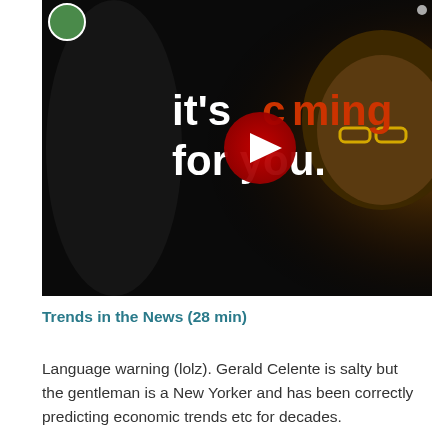[Figure (screenshot): YouTube video thumbnail showing two people on dark background with text 'it's coming for you.' in white and orange bold font, with a YouTube play button in the center. A small circular avatar is visible in the top left corner.]
Trends in the News (28 min)
Language warning (lolz). Gerald Celente is salty but the gentleman is a New Yorker and has been correctly predicting economic trends etc for decades.